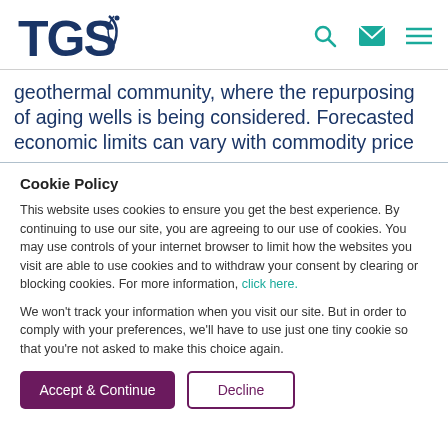TGS [logo with navigation icons: search, mail, menu]
geothermal community, where the repurposing of aging wells is being considered. Forecasted economic limits can vary with commodity price
Cookie Policy
This website uses cookies to ensure you get the best experience. By continuing to use our site, you are agreeing to our use of cookies. You may use controls of your internet browser to limit how the websites you visit are able to use cookies and to withdraw your consent by clearing or blocking cookies. For more information, click here.
We won't track your information when you visit our site. But in order to comply with your preferences, we'll have to use just one tiny cookie so that you're not asked to make this choice again.